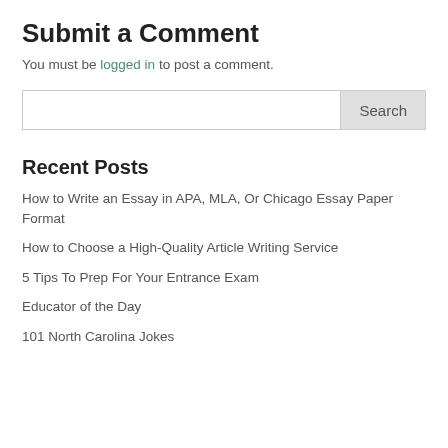Submit a Comment
You must be logged in to post a comment.
Recent Posts
How to Write an Essay in APA, MLA, Or Chicago Essay Paper Format
How to Choose a High-Quality Article Writing Service
5 Tips To Prep For Your Entrance Exam
Educator of the Day
101 North Carolina Jokes